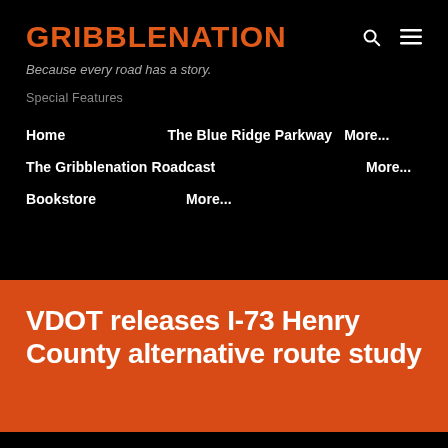GRIBBLENATION
Because every road has a story.
Special Features
Home    The Blue Ridge Parkway    More...
The Gribblenation Roadcast    More...
Bookstore    More...
VDOT releases I-73 Henry County alternative route study